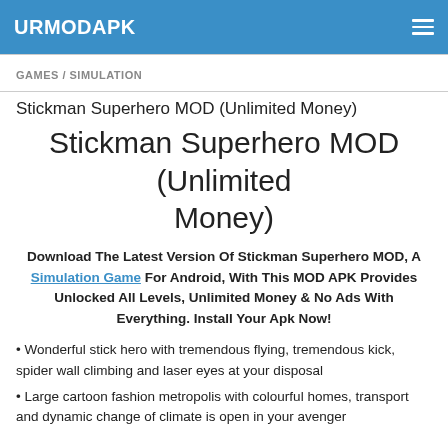URMODAPK
GAMES / SIMULATION
Stickman Superhero MOD (Unlimited Money)
Stickman Superhero MOD (Unlimited Money)
Download The Latest Version Of Stickman Superhero MOD, A Simulation Game For Android, With This MOD APK Provides Unlocked All Levels, Unlimited Money & No Ads With Everything. Install Your Apk Now!
Wonderful stick hero with tremendous flying, tremendous kick, spider wall climbing and laser eyes at your disposal
Large cartoon fashion metropolis with colourful homes, transport and dynamic change of climate is open in your avenger